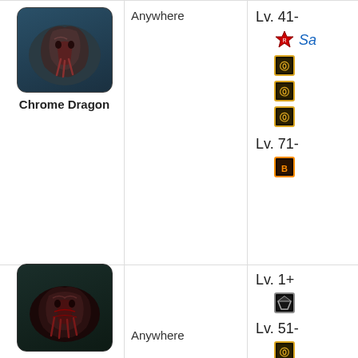[Figure (illustration): Chrome Dragon monster image - dark metallic dragon claw creature on blue background]
Chrome Dragon
Anywhere
Lv. 41-
Red star icon, Sa (blue italic text)
Item icon (gold border, rank 10)
Item icon (gold border, rank 10)
Item icon (gold border, rank 10)
Lv. 71-
Item icon (gold/orange border, rank 13)
[Figure (illustration): Second monster image - dark red/black creature with claws on teal background]
Anywhere
Lv. 1+
Gem/crystal icon (grey border)
Lv. 51-
Item icon (gold border, rank 10)
Item icon (gold border, rank 10)
Item icon (gold border, rank 10)